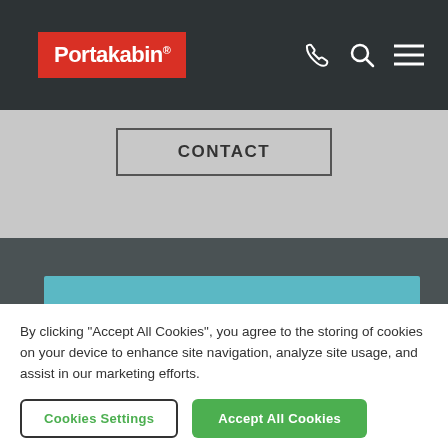[Figure (logo): Portakabin logo - white text on red background in dark navigation bar with phone, search, and menu icons]
CONTACT
+35319609301
Call Me Back
By clicking "Accept All Cookies", you agree to the storing of cookies on your device to enhance site navigation, analyze site usage, and assist in our marketing efforts.
Cookies Settings
Accept All Cookies